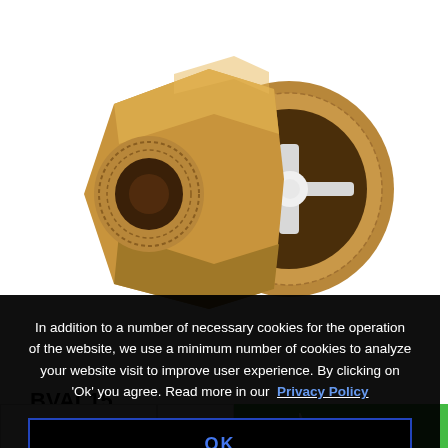[Figure (photo): Brass spring check valve / non-return valve with female thread connections, showing internal mechanism with white plastic poppet, viewed from front at slight angle. Golden/bronze colored body with hexagonal flat wrench section.]
BVAL15
In addition to a number of necessary cookies for the operation of the website, we use a minimum number of cookies to analyze your website visit to improve user experience. By clicking on 'Ok' you agree. Read more in our Privacy Policy
OK